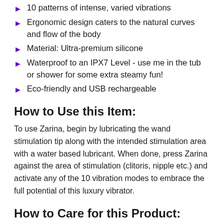10 patterns of intense, varied vibrations
Ergonomic design caters to the natural curves and flow of the body
Material: Ultra-premium silicone
Waterproof to an IPX7 Level - use me in the tub or shower for some extra steamy fun!
Eco-friendly and USB rechargeable
How to Use this Item:
To use Zarina, begin by lubricating the wand stimulation tip along with the intended stimulation area with a water based lubricant. When done, press Zarina against the area of stimulation (clitoris, nipple etc.) and activate any of the 10 vibration modes to embrace the full potential of this luxury vibrator.
How to Care for this Product:
To care for this item, when done with play wash Zarina with